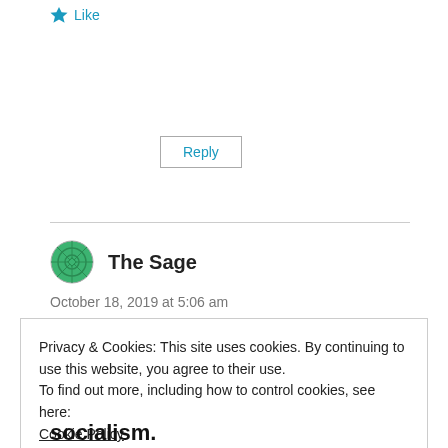Like
Reply
The Sage
October 18, 2019 at 5:06 am
Privacy & Cookies: This site uses cookies. By continuing to use this website, you agree to their use.
To find out more, including how to control cookies, see here:
Cookie Policy
Close and accept
socialism.